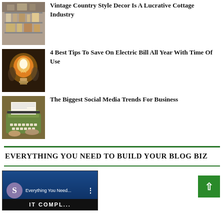[Figure (photo): Vintage kitchen/country style decor interior photo thumbnail]
Vintage Country Style Decor Is A Lucrative Cottage Industry
[Figure (photo): Glowing lightbulb photo thumbnail]
4 Best Tips To Save On Electric Bill All Year With Time Of Use
[Figure (photo): Green typewriter with hands typing photo thumbnail]
The Biggest Social Media Trends For Business
EVERYTHING YOU NEED TO BUILD YOUR BLOG BIZ
[Figure (screenshot): Video thumbnail showing 'Everything You Need...' with S logo icon on dark blue background with partial text below]